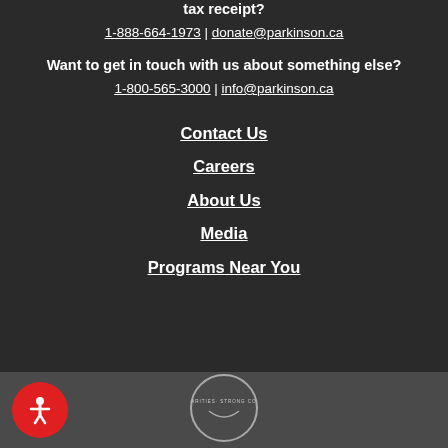tax receipt?
1-888-664-1973 | donate@parkinson.ca
Want to get in touch with us about something else?
1-800-565-3000 | info@parkinson.ca
Contact Us
Careers
About Us
Media
Programs Near You
[Figure (logo): Parkinson Canada circular logo in footer area]